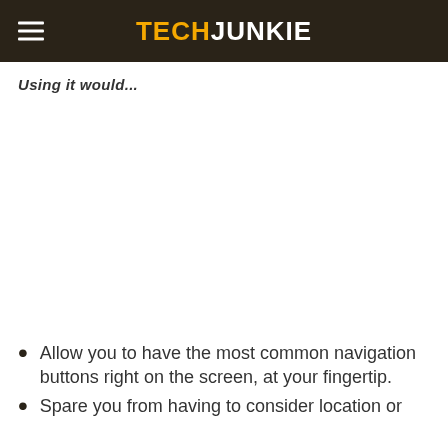TECHJUNKIE
Using it would...
[Figure (other): Blank white image placeholder area]
Allow you to have the most common navigation buttons right on the screen, at your fingertip.
Spare you from having to consider location or